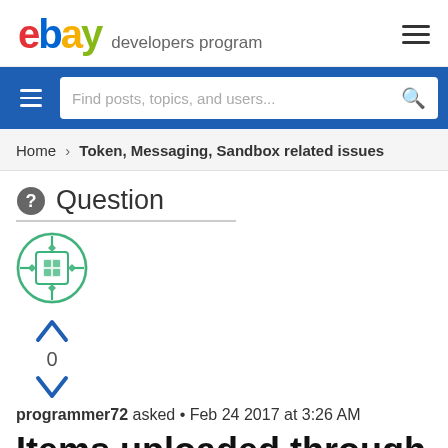ebay developers program
[Figure (screenshot): eBay Developers Program forum navigation bar with search field]
Home > Token, Messaging, Sandbox related issues
Question
[Figure (illustration): User avatar - green geometric pattern circle icon with vote arrows showing 0 votes]
programmer72 asked • Feb 24 2017 at 3:26 AM
Items uploaded through